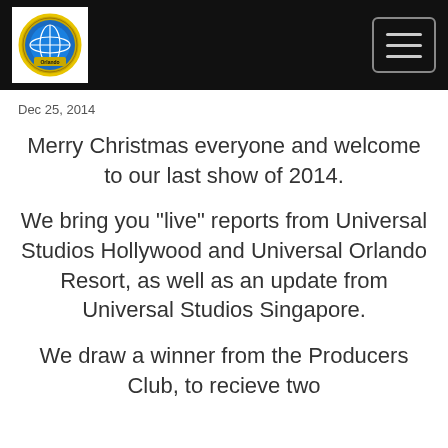[Figure (logo): Circular badge/seal logo in gold and blue on white background, positioned in black header bar]
Navigation bar with logo and hamburger menu button
Dec 25, 2014
Merry Christmas everyone and welcome to our last show of 2014.
We bring you "live" reports from Universal Studios Hollywood and Universal Orlando Resort, as well as an update from Universal Studios Singapore.
We draw a winner from the Producers Club, to recieve two